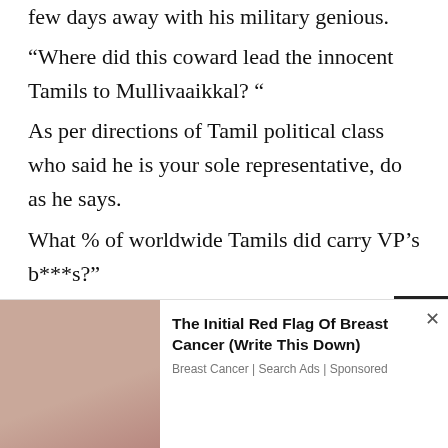few days away with his military genious. “Where did this coward lead the innocent Tamils to Mullivaaikkal? “ As per directions of Tamil political class who said he is your sole representative, do as he says. What % of worldwide Tamils did carry VP’s b***s?” 99.99% (how many sane voices you heard say “let my people go”) “After 30 years of fighting what sort legacy and political assets had he left behind? “
[Figure (photo): Advertisement image showing a person's torso/hands, part of a breast cancer awareness ad]
The Initial Red Flag Of Breast Cancer (Write This Down)
Breast Cancer | Search Ads | Sponsored